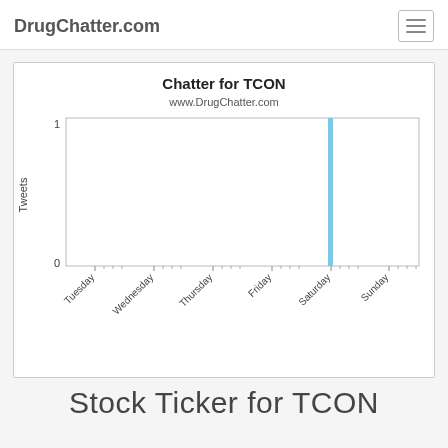DrugChatter.com
[Figure (bar-chart): Chatter for TCON]
Stock Ticker for TCON